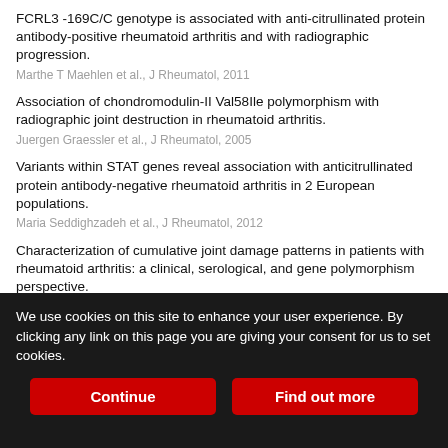FCRL3 -169C/C genotype is associated with anti-citrullinated protein antibody-positive rheumatoid arthritis and with radiographic progression.
Marthe T Maehlen et al., J Rheumatol, 2011
Association of chondromodulin-II Val58Ile polymorphism with radiographic joint destruction in rheumatoid arthritis.
Juergen Graessler et al., J Rheumatol, 2005
Variants within STAT genes reveal association with anticitrullinated protein antibody-negative rheumatoid arthritis in 2 European populations.
Maria Seddighzadeh et al., J Rheumatol, 2012
Characterization of cumulative joint damage patterns in patients with rheumatoid arthritis: a clinical, serological, and gene polymorphism perspective.
Renata Trigueirinho Alarcon et al., J Rheumatol, 2015
Long noncoding RNA LERFS negatively regulates rheumatoid synovial aggression and proliferation [external link]
We use cookies on this site to enhance your user experience. By clicking any link on this page you are giving your consent for us to set cookies.